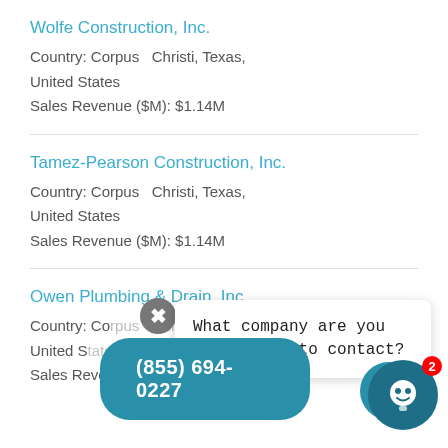Wolfe Construction, Inc.
Country: Corpus  Christi, Texas, United States
Sales Revenue ($M): $1.14M
Tamez-Pearson Construction, Inc.
Country: Corpus  Christi, Texas, United States
Sales Revenue ($M): $1.14M
Owen Plumbing & Drain, Inc.
Country: Corpus  Christi, Texas, United States
Sales Revenue ($M): $1.11M